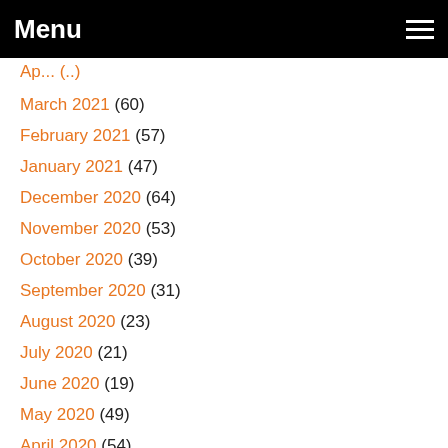Menu
March 2021 (60)
February 2021 (57)
January 2021 (47)
December 2020 (64)
November 2020 (53)
October 2020 (39)
September 2020 (31)
August 2020 (23)
July 2020 (21)
June 2020 (19)
May 2020 (49)
April 2020 (54)
March 2020 (52)
February 2020 (43)